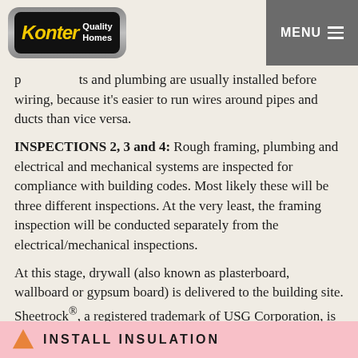Konter Quality Homes | MENU
ts and plumbing are usually installed before wiring, because it's easier to run wires around pipes and ducts than vice versa.
INSPECTIONS 2, 3 and 4: Rough framing, plumbing and electrical and mechanical systems are inspected for compliance with building codes. Most likely these will be three different inspections. At the very least, the framing inspection will be conducted separately from the electrical/mechanical inspections.
At this stage, drywall (also known as plasterboard, wallboard or gypsum board) is delivered to the building site. Sheetrock®, a registered trademark of USG Corporation, is sometimes used as a generic term for drywall.
INSTALL INSULATION